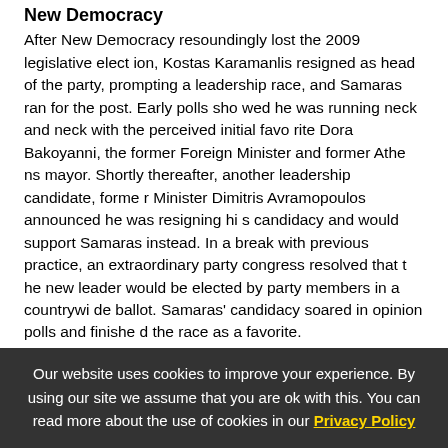New Democracy
After New Democracy resoundingly lost the 2009 legislative election, Kostas Karamanlis resigned as head of the party, prompting a leadership race, and Samaras ran for the post. Early polls showed he was running neck and neck with the perceived initial favorite Dora Bakoyanni, the former Foreign Minister and former Athens mayor. Shortly thereafter, another leadership candidate, former Minister Dimitris Avramopoulos announced he was resigning his candidacy and would support Samaras instead. In a break with previous practice, an extraordinary party congress resolved that the new leader would be elected by party members in a countrywide ballot. Samaras' candidacy soared in opinion polls and finished the race as a favorite.
In the early morning hours of 30 November 2009, Samaras was elected the new leader of the New Democracy party. Following early results showing Samaras in a comfortable lead, Bakoyanni, his main rival, conceded defeat and called Samaras to congratulate him. He accepted his election with a speech at the party headquarters, and pledged to carry out a broad ideological and orga
Our website uses cookies to improve your experience. By using our site we assume that you are ok with this. You can read more about the use of cookies in our Privacy Policy